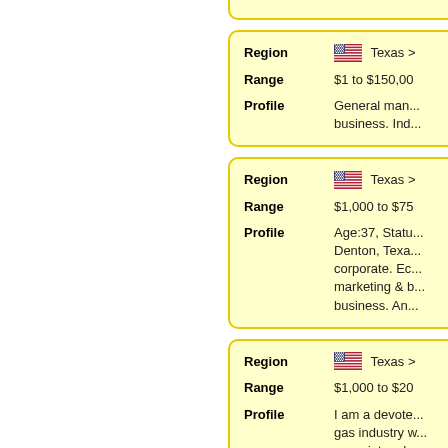Card 1: Region: Texas > ..., Range: $1 to $150,000, Profile: General man... business. Ind...
Card 2: Region: Texas > ..., Range: $1,000 to $75..., Profile: Age:37, Statu... Denton, Texa... corporate. Ec... marketing & b... business. An...
Card 3: Region: Texas > ..., Range: $1,000 to $20..., Profile: I am a devote... gas industry w... associates de... sector for ove...